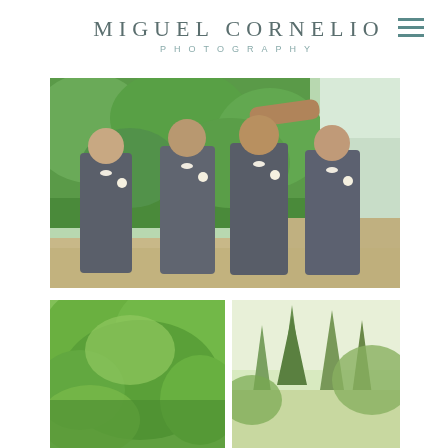MIGUEL CORNELIO PHOTOGRAPHY
[Figure (photo): Four groomsmen in matching dark gray suits with white bow ties and boutonnieres, standing outdoors in front of lush green foliage, laughing and posing together]
[Figure (photo): Outdoor greenery scene, lower left portion of wedding venue with trees and shrubs]
[Figure (photo): Outdoor scene with tall pine trees and light sky, right side of wedding venue]